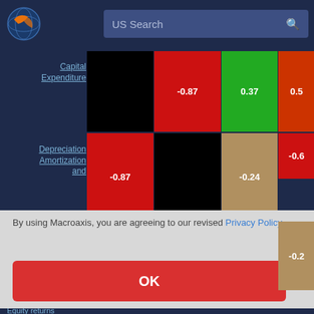[Figure (logo): Macroaxis globe logo — orange and blue circular icon]
US Search
[Figure (other): Correlation heatmap showing Capital Expenditure and Depreciation Amortization rows. Values visible: -0.87, 0.37, 0.5x (partially visible), -0.87, -0.24, -0.6x (partially visible). Colors: black, red, green, tan/brown cells.]
Capital Expenditure
Depreciation Amortization and
By using Macroaxis, you are agreeing to our revised Privacy Policy
OK
Equity returns